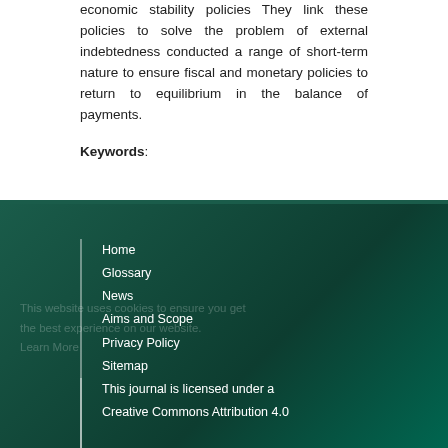economic stability policies They link these policies to solve the problem of external indebtedness conducted a range of short-term nature to ensure fiscal and monetary policies to return to equilibrium in the balance of payments.
Keywords:
Home
Glossary
News
Aims and Scope
Privacy Policy
Sitemap
This website uses cookies to ensure you get the best experience on our website. Learn More
This journal is licensed under a Creative Commons Attribution 4.0